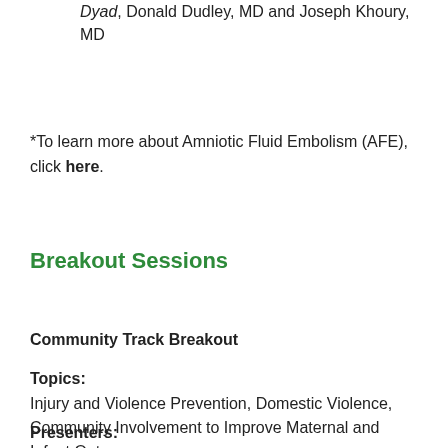Dyad, Donald Dudley, MD and Joseph Khoury, MD
*To learn more about Amniotic Fluid Embolism (AFE), click here.
Breakout Sessions
Community Track Breakout
Topics:
Injury and Violence Prevention, Domestic Violence, Community Involvement to Improve Maternal and Infant Outcomes
Presenters: